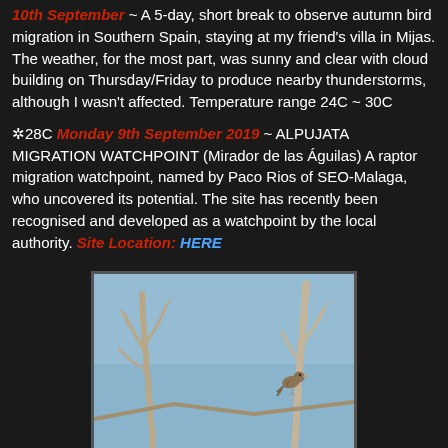10th September ~ A 5-day, short break to observe autumn bird migration in Southern Spain, staying at my friend's villa in Mijas. The weather, for the most part, was sunny and clear with cloud building on Thursday/Friday to produce nearby thunderstorms, although I wasn't affected. Temperature range 24C ~ 30C
☀28C Monday 9th September 2019 ~ ALPUJATA MIGRATION WATCHPOINT (Mirador de las Águilas) A raptor migration watchpoint, named by Paco Rios of SEO-Malaga, who uncovered its potential. The site has recently been recognised and developed as a watchpoint by the local authority. Site Location: HERE
[Figure (photo): A bird perched on bare dead branches against a pale blue sky background]